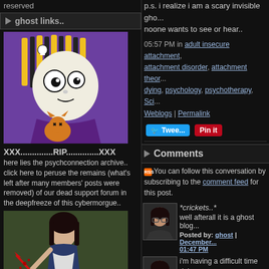reserved
ghost links..
[Figure (illustration): Cartoon gothic girl with blonde striped hair, big eyes, holding an orange cat, purple background]
XXX..............RIP..............XXX
here lies the psychconnection archive.. click here to peruse the remains (what's left after many members' posts were removed) of our dead support forum in the deepfreeze of this cybermorgue..
[Figure (illustration): Gothic woman in blue dress holding red knife, green dark background]
p.s. i realize i am a scary invisible gho... noone wants to see or hear..
05:57 PM in adult insecure attachment, attachment disorder, attachment theor... dying, psychology, psychotherapy, Sci... Weblogs | Permalink
[Figure (other): Twitter tweet button and Pinterest Pin It button]
Comments
You can follow this conversation by subscribing to the comment feed for this post.
[Figure (photo): Avatar photo of woman with dark hair and glasses]
*crickets..*
well afterall it is a ghost blog...
Posted by: ghost | December... 01:47 PM
[Figure (photo): Avatar photo of woman with dark hair and glasses]
i'm having a difficult time righ... fact that i've so isolated myse... a reclusive corner is not help... posted a comment or two he... ghostblog along those lines a... winter. but it's become worse... because my sister is dying...